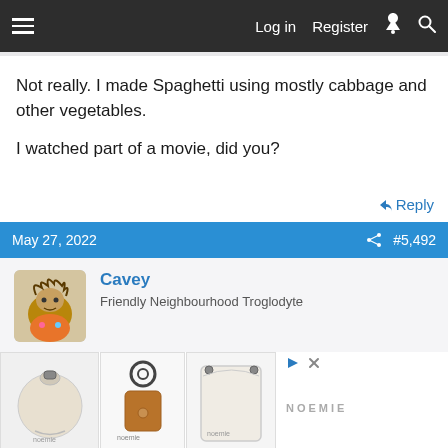Log in  Register
Not really. I made Spaghetti using mostly cabbage and other vegetables.

I watched part of a movie, did you?
Reply
May 27, 2022  #5,492
Cavey
Friendly Neighbourhood Troglodyte
[Figure (photo): Advertisement showing three leather accessories (round coin purse, keychain fob, card holder) with NOEMIE brand name]